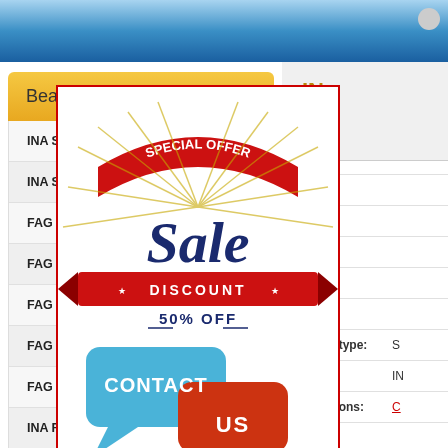Bearing Classification
INA SK014-205-KRR-B Ball Bearing
INA SK014-205-KRR-B Roller Bearing
FAG 61812-2Z-Y Bearing
FAG HCS71902C.T.P4S.UL Bearing
FAG 22326-E1-K + H2326 Bearing
FAG HCS71908-C-T-P4S Bearing
FAG 2204 Bearing
INA FTO10 Bearing
IN
| Field | Value |
| --- | --- |
| Bea |  |
| Ne |  |
| Old |  |
| d (m |  |
| D (m |  |
| B (m |  |
| bearing type: | S |
| Brand: | IN |
| Dimensions: | C |
[Figure (infographic): Special Offer Sale Discount 50% Off advertisement banner with red and blue design]